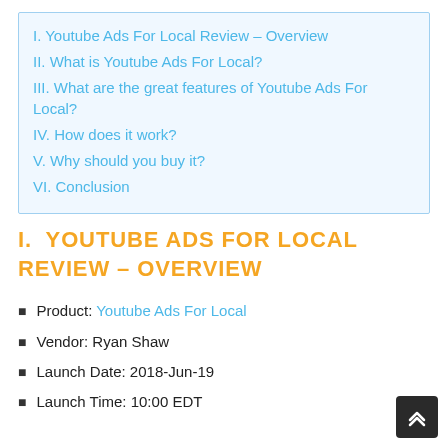I. Youtube Ads For Local Review – Overview
II. What is Youtube Ads For Local?
III. What are the great features of Youtube Ads For Local?
IV. How does it work?
V. Why should you buy it?
VI. Conclusion
I. YOUTUBE ADS FOR LOCAL REVIEW – OVERVIEW
Product: Youtube Ads For Local
Vendor: Ryan Shaw
Launch Date: 2018-Jun-19
Launch Time: 10:00 EDT